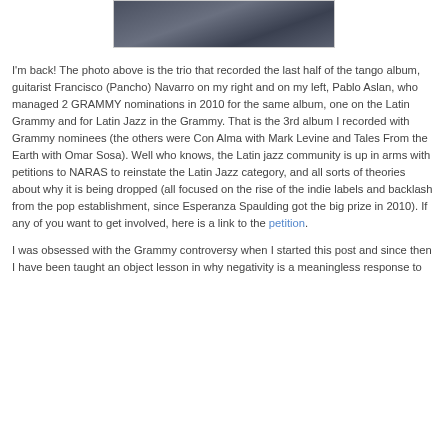[Figure (photo): Partial photo of three musicians — the trio that recorded the tango album. Only the lower portion of the image is visible at the top of the page.]
I'm back! The photo above is the trio that recorded the last half of the tango album, guitarist Francisco (Pancho) Navarro on my right and on my left, Pablo Aslan, who managed 2 GRAMMY nominations in 2010 for the same album, one on the Latin Grammy and for Latin Jazz in the Grammy. That is the 3rd album I recorded with Grammy nominees (the others were Con Alma with Mark Levine and Tales From the Earth with Omar Sosa). Well who knows, the Latin jazz community is up in arms with petitions to NARAS to reinstate the Latin Jazz category, and all sorts of theories about why it is being dropped (all focused on the rise of the indie labels and backlash from the pop establishment, since Esperanza Spaulding got the big prize in 2010). If any of you want to get involved, here is a link to the petition.
I was obsessed with the Grammy controversy when I started this post and since then I have been taught an object lesson in why negativity is a meaningless response to...